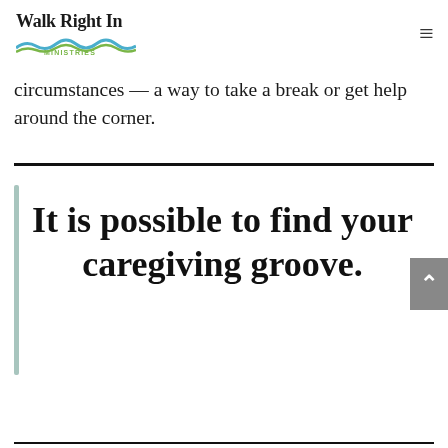Walk Right In Ministries
circumstances — a way to take a break or get help around the corner.
It is possible to find your caregiving groove.